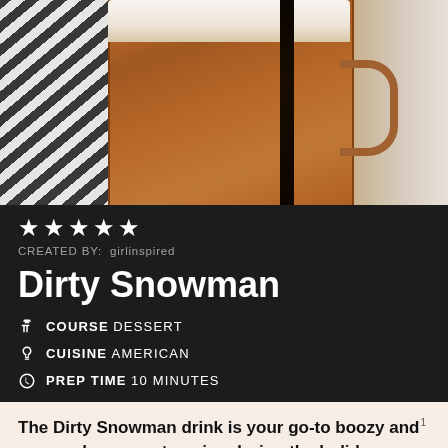[Figure (photo): A glass mug filled with a creamy chocolate drink topped with whipped cream and chocolate drizzle, placed next to a striped cloth napkin]
★★★★★
CREATED BY: girlinspired
Dirty Snowman
COURSE DESSERT
CUISINE AMERICAN
PREP TIME 10 MINUTES
The Dirty Snowman drink is your go-to boozy and creamy beverage to enjoy during the holidays or